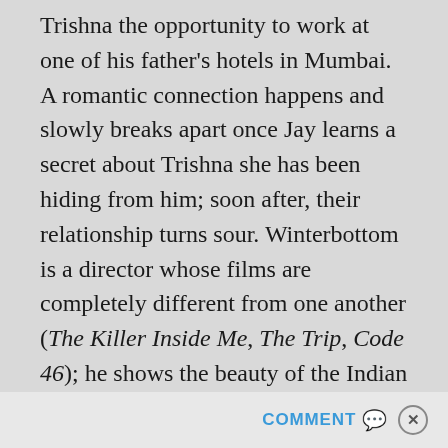Trishna the opportunity to work at one of his father's hotels in Mumbai. A romantic connection happens and slowly breaks apart once Jay learns a secret about Trishna she has been hiding from him; soon after, their relationship turns sour. Winterbottom is a director whose films are completely different from one another (The Killer Inside Me, The Trip, Code 46); he shows the beauty of the Indian landscape with crisp lensing from cinematographer Marcel Zyskind, and even shows some zest in some Bollywood dances with an original score by Shigeru Umebayashi. The film, though, belongs to Pinto. Trishna does fail to bring any real drama to the story, as both Trishna and
COMMENT ✉ ✕